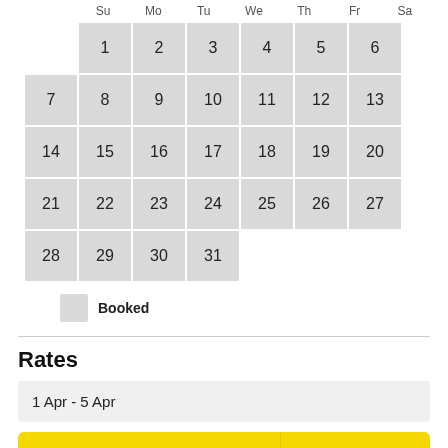[Figure (other): Monthly calendar showing days 1-31 with all dates highlighted in grey (booked). Days of week headers: Su Mo Tu We Th Fr Sa. Week rows shown for a month starting on Monday the 1st.]
Booked
Rates
1 Apr - 5 Apr
Book  $325 per night
Message the owner